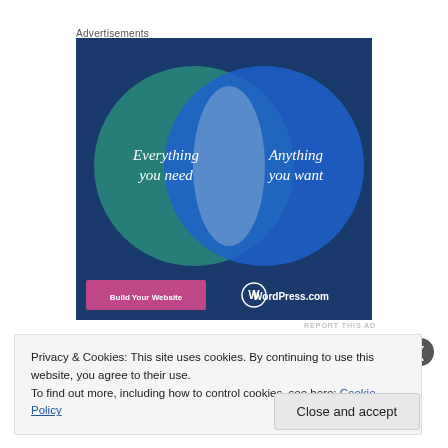Advertisements
[Figure (infographic): WordPress.com advertisement with a Venn diagram of two overlapping circles on a dark blue background. Left circle (teal/green) contains text 'Everything you need'. Right circle (blue) contains text 'Anything you want'. Bottom section has a pink 'Build Your Website' button and the WordPress.com logo.]
REPORT THIS AD
Privacy & Cookies: This site uses cookies. By continuing to use this website, you agree to their use.
To find out more, including how to control cookies, see here: Cookie Policy
Close and accept